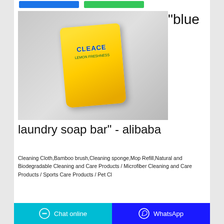[Figure (photo): Yellow laundry detergent powder bag (Cleace brand, Lemon Freshness) on a grey background]
"blue laundry soap bar" - alibaba
Cleaning Cloth,Bamboo brush,Cleaning sponge,Mop Refill,Natural and Biodegradable Cleaning and Care Products / Microfiber Cleaning and Care Products / Sports Care Products / Pet Cl